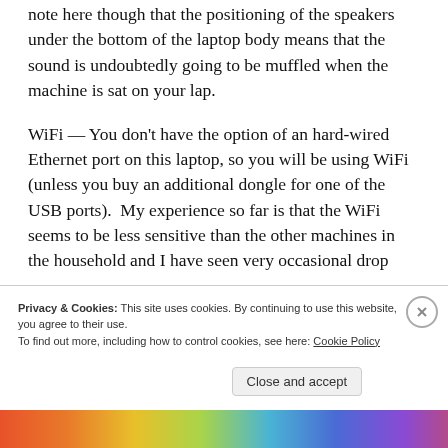note here though that the positioning of the speakers under the bottom of the laptop body means that the sound is undoubtedly going to be muffled when the machine is sat on your lap.
WiFi — You don't have the option of an hard-wired Ethernet port on this laptop, so you will be using WiFi (unless you buy an additional dongle for one of the USB ports).  My experience so far is that the WiFi seems to be less sensitive than the other machines in the household and I have seen very occasional drop
Privacy & Cookies: This site uses cookies. By continuing to use this website, you agree to their use.
To find out more, including how to control cookies, see here: Cookie Policy